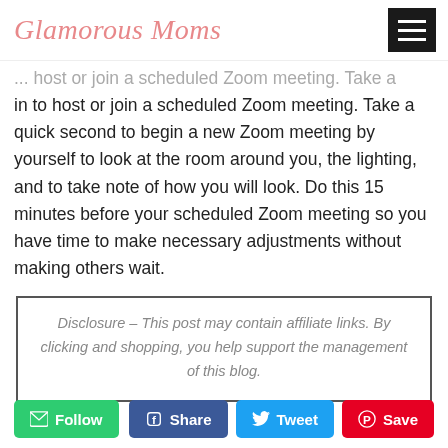Glamorous Moms
in to host or join a scheduled Zoom meeting. Take a quick second to begin a new Zoom meeting by yourself to look at the room around you, the lighting, and to take note of how you will look. Do this 15 minutes before your scheduled Zoom meeting so you have time to make necessary adjustments without making others wait.
Disclosure – This post may contain affiliate links. By clicking and shopping, you help support the management of this blog.